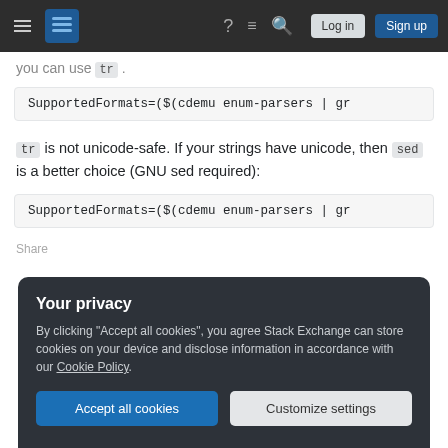Stack Exchange navigation bar with hamburger menu, logo, help, chat, search icons, Log in and Sign up buttons
you can use tr .
SupportedFormats=($(cdemu enum-parsers | gr
tr is not unicode-safe. If your strings have unicode, then sed is a better choice (GNU sed required):
SupportedFormats=($(cdemu enum-parsers | gr
Share
Your privacy
By clicking "Accept all cookies", you agree Stack Exchange can store cookies on your device and disclose information in accordance with our Cookie Policy.
Accept all cookies
Customize settings